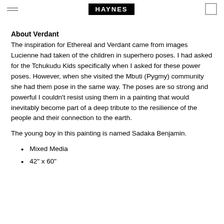HAYNES
About Verdant
The inspiration for Ethereal and Verdant came from images Lucienne had taken of the children in superhero poses. I had asked for the Tchukudu Kids specifically when I asked for these power poses. However, when she visited the Mbuti (Pygmy) community she had them pose in the same way. The poses are so strong and powerful I couldn't resist using them in a painting that would inevitably become part of a deep tribute to the resilience of the people and their connection to the earth.
The young boy in this painting is named Sadaka Benjamin.
Mixed Media
42" x 60"